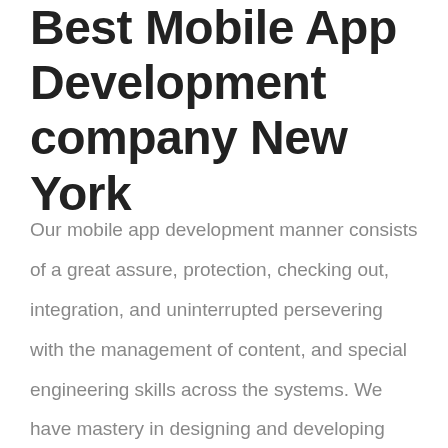Best Mobile App Development company New York
Our mobile app development manner consists of a great assure, protection, checking out, integration, and uninterrupted persevering with the management of content, and special engineering skills across the systems. We have mastery in designing and developing apps that are easy, specific, high overall performance, interactive and clean to download and use. Over a quick time frame, we've got developed cash-making apps for diverse